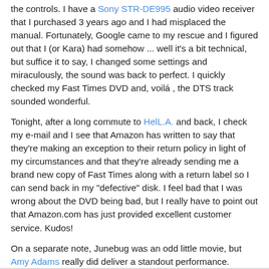the controls. I have a Sony STR-DE995 audio video receiver that I purchased 3 years ago and I had misplaced the manual. Fortunately, Google came to my rescue and I figured out that I (or Kara) had somehow ... well it's a bit technical, but suffice it to say, I changed some settings and miraculously, the sound was back to perfect. I quickly checked my Fast Times DVD and, voilá , the DTS track sounded wonderful.
Tonight, after a long commute to HelL.A. and back, I check my e-mail and I see that Amazon has written to say that they're making an exception to their return policy in light of my circumstances and that they're already sending me a brand new copy of Fast Times along with a return label so I can send back in my "defective" disk. I feel bad that I was wrong about the DVD being bad, but I really have to point out that Amazon.com has just provided excellent customer service. Kudos!
On a separate note, Junebug was an odd little movie, but Amy Adams really did deliver a standout performance.